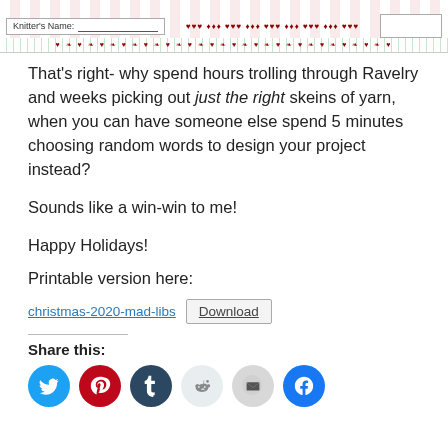[Figure (other): Decorative banner with Christmas knitting pattern (hearts, deer, holly), showing a form field labeled 'Knitter's Name:' with a blank line, and decorative red and green fair-isle style border pattern.]
That's right- why spend hours trolling through Ravelry and weeks picking out just the right skeins of yarn, when you can have someone else spend 5 minutes choosing random words to design your project instead?
Sounds like a win-win to me!
Happy Holidays!
Printable version here:
christmas-2020-mad-libs   Download
Share this:
[Figure (infographic): Row of six circular social media share buttons: Twitter (blue), Pinterest (red), Tumblr (dark blue), Reddit (light gray with alien icon), Email (gray), Facebook (blue).]